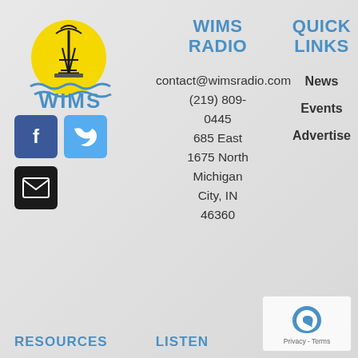[Figure (logo): WIMS Radio logo: radio tower on yellow circle with blue waves and WIMS text in blue below]
[Figure (illustration): Social media icons: Facebook (dark blue square with white f), Twitter (light blue square with white bird), and black email envelope icon]
WIMS RADIO
contact@wimsradio.com
(219) 809-0445
685 East
1675 North
Michigan City, IN
46360
QUICK LINKS
News
Events
Advertise
RESOURCES
LISTEN
[Figure (illustration): Google reCAPTCHA widget with logo and Privacy - Terms text]